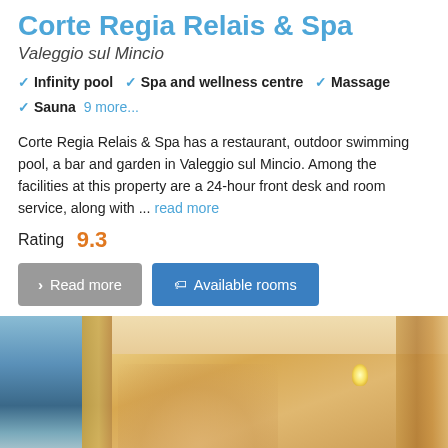Corte Regia Relais & Spa
Valeggio sul Mincio
Infinity pool
Spa and wellness centre
Massage
Sauna  9 more...
Corte Regia Relais & Spa has a restaurant, outdoor swimming pool, a bar and garden in Valeggio sul Mincio. Among the facilities at this property are a 24-hour front desk and room service, along with ... read more
Rating  9.3
Read more
Available rooms
[Figure (photo): Interior photo of a hotel room at Corte Regia Relais & Spa, showing warm golden walls, curtains, windows with blue sky view, and a wall sconce light]